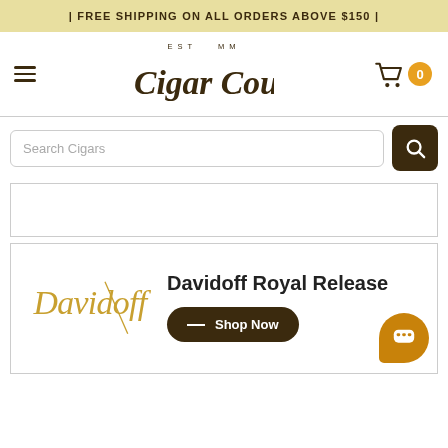| FREE SHIPPING ON ALL ORDERS ABOVE $150 |
[Figure (logo): Cigar Country logo with EST MM tagline and hamburger menu icon]
Search Cigars
Davidoff Royal Release
Shop Now